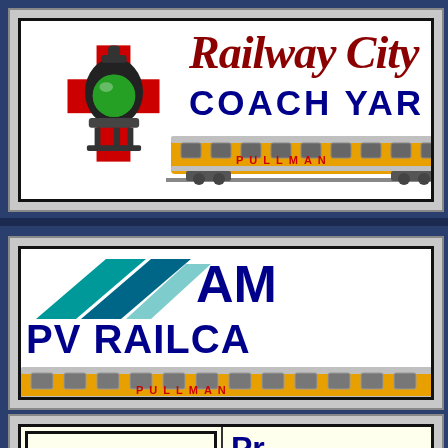[Figure (logo): Railway City Coach Yard banner with lantern logo, script red italic 'Railway City' text, bold blue 'COACH YARD' text, and yellow Pullman train car illustration]
[Figure (logo): Amtrak PV Railcar banner with teal Amtrak arrow logo, bold blue 'AM' partial text, bold blue 'PV RAILCAR' text, and yellow Pullman train car illustration]
[Figure (logo): Partial third card showing cream/ivory background with blue 'Pr' text partial]